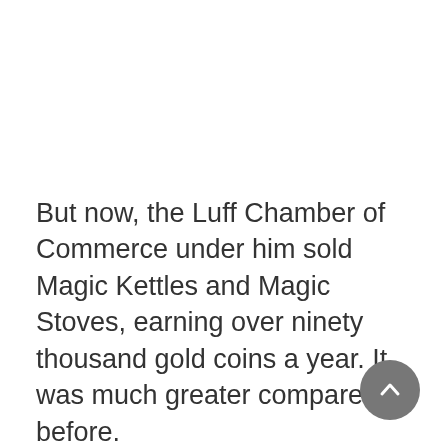But now, the Luff Chamber of Commerce under him sold Magic Kettles and Magic Stoves, earning over ninety thousand gold coins a year. It was much greater compared to before.
Of course, he was very happy with his decision back then.
It was a good thing that when the Frestech Chamber of Commerce announced they were